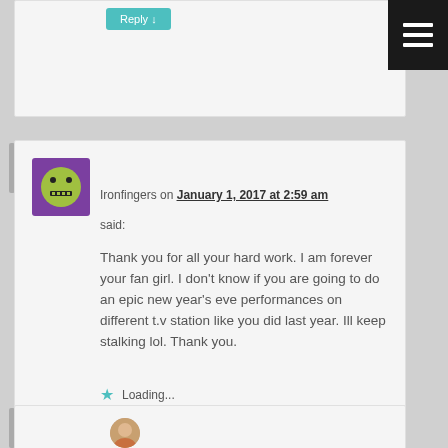Reply ↓
Ironfingers on January 1, 2017 at 2:59 am said:
Thank you for all your hard work. I am forever your fan girl. I don't know if you are going to do an epic new year's eve performances on different t.v station like you did last year. Ill keep stalking lol. Thank you.
Loading...
Reply ↓